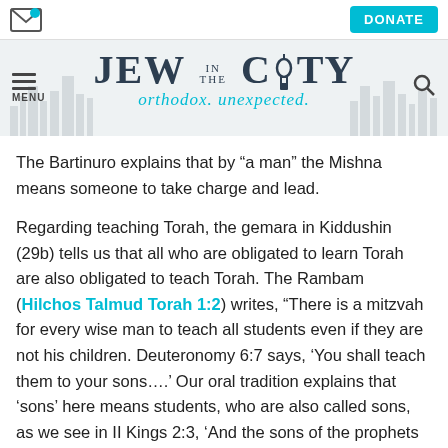Jew in the City — orthodox. unexpected.
The Bartinuro explains that by “a man” the Mishna means someone to take charge and lead.
Regarding teaching Torah, the gemara in Kiddushin (29b) tells us that all who are obligated to learn Torah are also obligated to teach Torah. The Rambam (Hilchos Talmud Torah 1:2) writes, “There is a mitzvah for every wise man to teach all students even if they are not his children. Deuteronomy 6:7 says, ‘You shall teach them to your sons….’ Our oral tradition explains that ‘sons’ here means students, who are also called sons, as we see in II Kings 2:3, ‘And the sons of the prophets went forth….’”